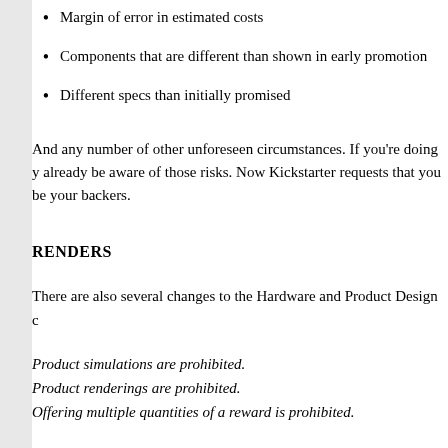Margin of error in estimated costs
Components that are different than shown in early promotion
Different specs than initially promised
And any number of other unforeseen circumstances. If you're doing y already be aware of those risks. Now Kickstarter requests that you be your backers.
RENDERS
There are also several changes to the Hardware and Product Design c
Product simulations are prohibited.
Product renderings are prohibited.
Offering multiple quantities of a reward is prohibited.
These changes do not yet apply to other categories, like games. So yo